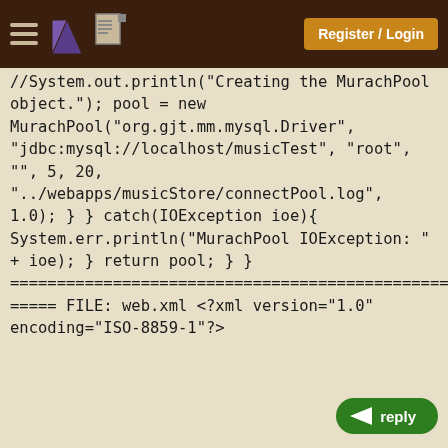Register / Login
//System.out.println("Creating the MurachPool object.");
pool = new MurachPool("org.gjt.mm.mysql.Driver",
"jdbc:mysql://localhost/musicTest", "root",
"", 5, 20,
"../webapps/musicStore/connectPool.log",
1.0);
}
}
catch(IOException ioe){
System.err.println("MurachPool IOException: " + ioe);
}
return pool;
}
}
================================================================
=====
FILE: web.xml

<?xml version="1.0" encoding="ISO-8859-1"?>